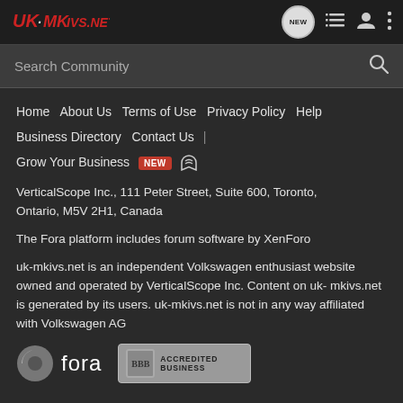UK-MKIVS.NET — navigation bar with logo and icons
Search Community
Home  About Us  Terms of Use  Privacy Policy  Help  Business Directory  Contact Us  |  Grow Your Business  NEW  RSS
VerticalScope Inc., 111 Peter Street, Suite 600, Toronto, Ontario, M5V 2H1, Canada
The Fora platform includes forum software by XenForo
uk-mkivs.net is an independent Volkswagen enthusiast website owned and operated by VerticalScope Inc. Content on uk-mkivs.net is generated by its users. uk-mkivs.net is not in any way affiliated with Volkswagen AG
[Figure (logo): Fora logo with circular icon and BBB Accredited Business badge]
Fora | BBB Accredited Business